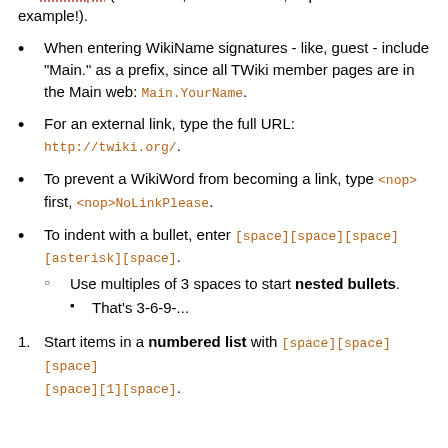appear highlighted, with question mark at the end, prompting you (or someone else) to start off the new topic by clicking the ? - NewTopic (click the ?, but don't save, to preserve the example!).
When entering WikiName signatures - like, guest - include "Main." as a prefix, since all TWiki member pages are in the Main web: Main.YourName.
For an external link, type the full URL: http://twiki.org/.
To prevent a WikiWord from becoming a link, type <nop> first, <nop>NoLinkPlease.
To indent with a bullet, enter [space][space][space][asterisk][space]. Use multiples of 3 spaces to start nested bullets. That's 3-6-9-...
Start items in a numbered list with [space][space][space][1][space].